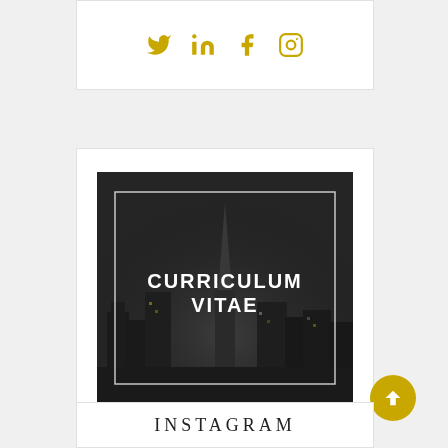[Figure (other): Social media icons: Twitter, LinkedIn, Facebook, Instagram in gold/yellow color]
[Figure (other): Curriculum Vitae cover image: dark cityscape photo with white border box overlay and bold white text reading CURRICULUM VITAE]
INSTAGRAM